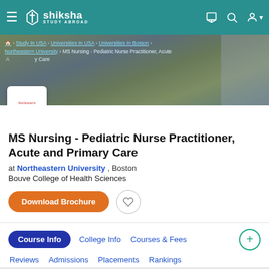Shiksha Study Abroad
[Figure (screenshot): Hero banner with Northeastern University campus photo showing students sitting on grass. Breadcrumb navigation: Home > Study In USA > Universities In USA > Universities In Boston > Northeastern University > MS Nursing - Pediatric Nurse Practitioner, Acute and Primary Care. Northeastern University logo card overlaid bottom-left.]
MS Nursing - Pediatric Nurse Practitioner, Acute and Primary Care
at Northeastern University , Boston
Bouve College of Health Sciences
Download Brochure
Course Info  College Info  Courses & Fees  Reviews  Admissions  Placements  Rankings